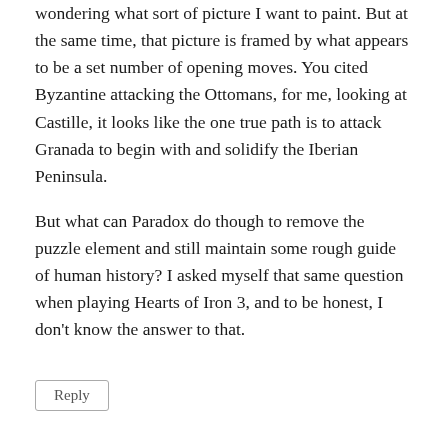wondering what sort of picture I want to paint. But at the same time, that picture is framed by what appears to be a set number of opening moves. You cited Byzantine attacking the Ottomans, for me, looking at Castille, it looks like the one true path is to attack Granada to begin with and solidify the Iberian Peninsula.
But what can Paradox do though to remove the puzzle element and still maintain some rough guide of human history? I asked myself that same question when playing Hearts of Iron 3, and to be honest, I don't know the answer to that.
Reply